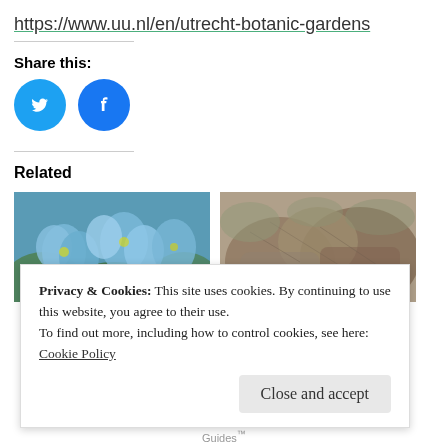https://www.uu.nl/en/utrecht-botanic-gardens
Share this:
[Figure (illustration): Twitter and Facebook social sharing icon buttons (circles)]
Related
[Figure (photo): Photo of blue flowers (Meconopsis) in a garden setting]
[Figure (photo): Sepia-toned historical photo of rocky landscape with vegetation]
Privacy & Cookies: This site uses cookies. By continuing to use this website, you agree to their use.
To find out more, including how to control cookies, see here:
Cookie Policy
Close and accept
Guides